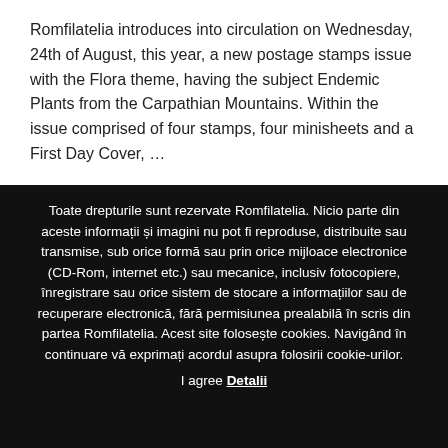Romfilatelia introduces into circulation on Wednesday, 24th of August, this year, a new postage stamps issue with the Flora theme, having the subject Endemic Plants from the Carpathian Mountains. Within the issue comprised of four stamps, four minisheets and a First Day Cover, …
Toate drepturile sunt rezervate Romfilatelia. Nicio parte din aceste informații și imagini nu pot fi reproduse, distribuite sau transmise, sub orice formă sau prin orice mijloace electronice (CD-Rom, internet etc.) sau mecanice, inclusiv fotocopiere, înregistrare sau orice sistem de stocare a informațiilor sau de recuperare electronică, fără permisiunea prealabilă în scris din partea Romfilatelia. Acest site folosește cookies. Navigând în continuare vă exprimați acordul asupra folosirii cookie-urilor. I agree Detalii